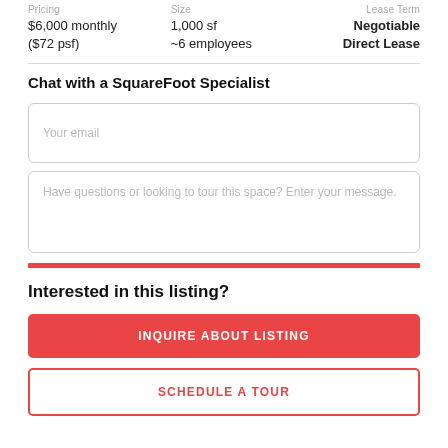Pricing
$6,000 monthly
($72 psf)
Size
1,000 sf
~6 employees
Lease Term
Negotiable
Direct Lease
Chat with a SquareFoot Specialist
Your email
Have questions or looking to tour this space? Enter your message.
Interested in this listing?
INQUIRE ABOUT LISTING
SCHEDULE A TOUR